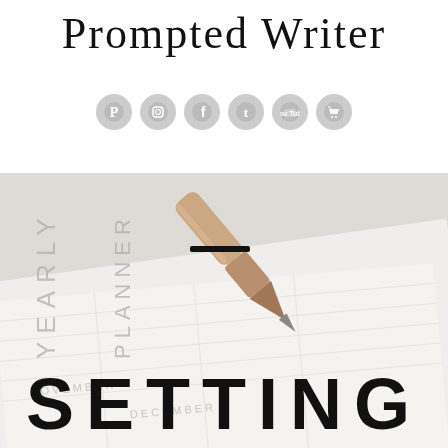Prompted Writer
[Figure (illustration): Six social media icon circles (Pinterest, Instagram, Facebook, Tumblr, YouTube, Shopping cart) in light gray]
[Figure (photo): Close-up photo of a rose gold pen resting on a yearly planner with months visible (November, December), with the word SETTING overlaid in large bold letters and a short dash above it]